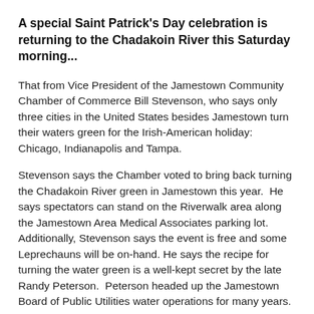A special Saint Patrick's Day celebration is returning to the Chadakoin River this Saturday morning...
That from Vice President of the Jamestown Community Chamber of Commerce Bill Stevenson, who says only three cities in the United States besides Jamestown turn their waters green for the Irish-American holiday: Chicago, Indianapolis and Tampa.
Stevenson says the Chamber voted to bring back turning the Chadakoin River green in Jamestown this year.  He says spectators can stand on the Riverwalk area along the Jamestown Area Medical Associates parking lot.  Additionally, Stevenson says the event is free and some Leprechauns will be on-hand. He says the recipe for turning the water green is a well-kept secret by the late Randy Peterson.  Peterson headed up the Jamestown Board of Public Utilities water operations for many years.